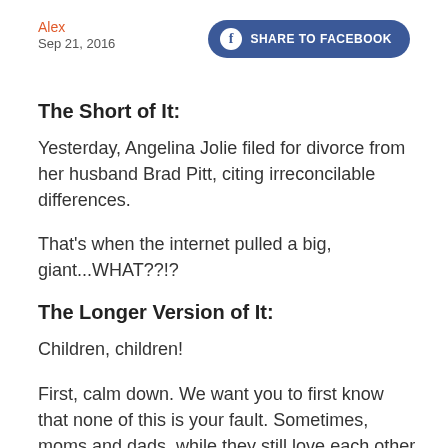Alex
Sep 21, 2016
The Short of It:
Yesterday, Angelina Jolie filed for divorce from her husband Brad Pitt, citing irreconcilable differences.
That's when the internet pulled a big, giant...WHAT??!?
The Longer Version of It:
Children, children!
First, calm down. We want you to first know that none of this is your fault. Sometimes, moms and dads, while they still love each other very much, fight too